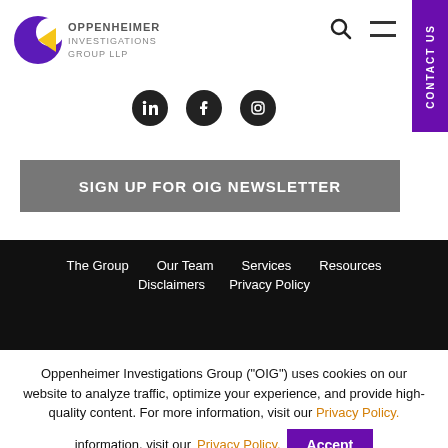[Figure (logo): Oppenheimer Investigations Group LLP logo with purple and yellow circle icon and text]
[Figure (illustration): Social media icons: LinkedIn, Facebook, Instagram - dark circular buttons]
SIGN UP FOR OIG NEWSLETTER
The Group   Our Team   Services   Resources   Disclaimers   Privacy Policy
Oppenheimer Investigations Group (“OIG”) uses cookies on our website to analyze traffic, optimize your experience, and provide high-quality content. For more information, visit our Privacy Policy.
Accept